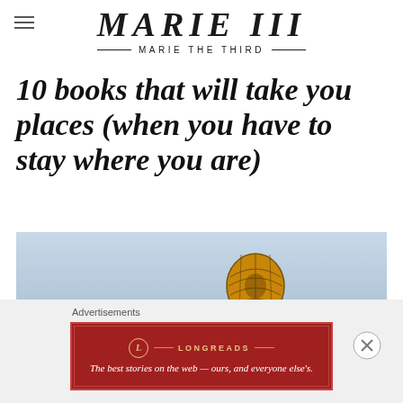MARIE THE THIRD
10 books that will take you places (when you have to stay where you are)
[Figure (photo): Two hot air balloons against a blue-grey sky. A large yellow and brown patterned balloon in the center-right, and a smaller balloon in the lower-left.]
Advertisements
[Figure (infographic): Longreads advertisement banner in dark red: logo circle with 'L', LONGREADS text, tagline 'The best stories on the web — ours, and everyone else's.']